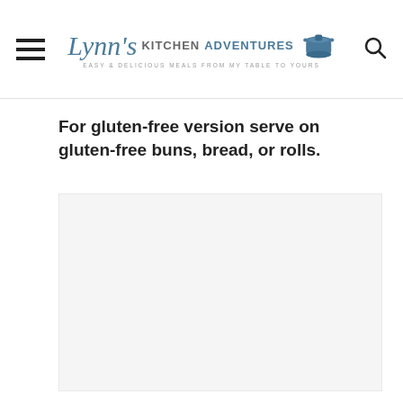Lynn's Kitchen Adventures - Easy & Delicious Meals From My Table To Yours
For gluten-free version serve on gluten-free buns, bread, or rolls.
[Figure (photo): A light gray placeholder image area below the text note]